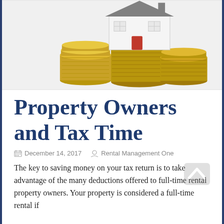[Figure (photo): A miniature white house with red shutters sitting on top of stacked coins, on a white background.]
Property Owners and Tax Time
December 14, 2017   Rental Management One
The key to saving money on your tax return is to take advantage of the many deductions offered to full-time rental property owners. Your property is considered a full-time rental if